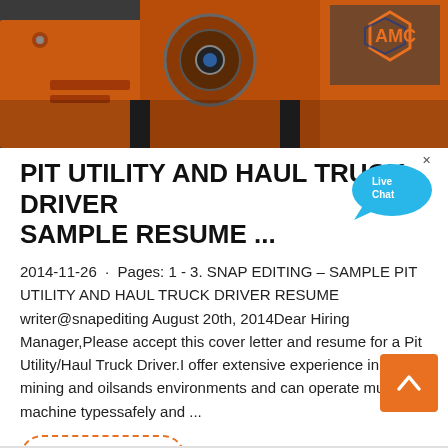[Figure (photo): Industrial mining machine/equipment in orange color with AMC logo visible in top right corner]
PIT UTILITY AND HAUL TRUCK DRIVER SAMPLE RESUME ...
2014-11-26 · Pages: 1 - 3. SNAP EDITING – SAMPLE PIT UTILITY AND HAUL TRUCK DRIVER RESUME writer@snapediting August 20th, 2014Dear Hiring Manager,Please accept this cover letter and resume for a Pit Utility/Haul Truck Driver.I offer extensive experience in both mining and oilsands environments and can operate multiple machine typessafely and ...
Contact us